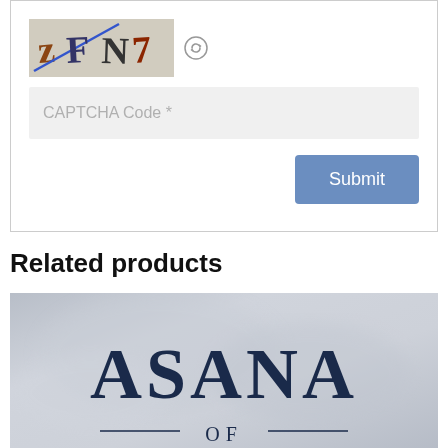[Figure (screenshot): CAPTCHA image showing distorted text 'zFN7' with a blue diagonal line, on a grayish background]
CAPTCHA Code *
Submit
Related products
[Figure (photo): Book or product cover image with text 'ASANA OF' in large dark navy serif letters on a misty gray background]